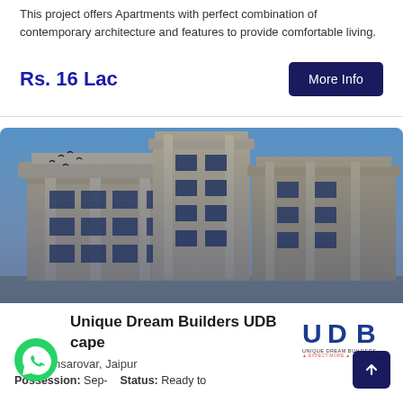This project offers Apartments with perfect combination of contemporary architecture and features to provide comfortable living.
Rs. 16 Lac
More Info
[Figure (photo): Exterior photograph of a multi-story residential apartment building with beige/tan facade, columns, balconies, against a blue sky background]
Unique Dream Builders UDB Cape
Mansarovar, Jaipur
Possession: Sep-   Status: Ready to
[Figure (logo): UDB - Unique Dream Builders logo with tagline 'Expect More']